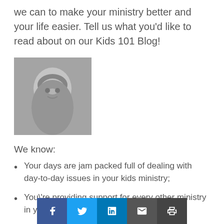we can to make your ministry better and your life easier. Tell us what you'd like to read about on our Kids 101 Blog!
[Figure (photo): Black and white portrait photo of a woman smiling, resting chin on hand]
We know:
Your days are jam packed full of dealing with day-to-day issues in your kids ministry;
You\'re providing support for every other ministry in your church;
You\'re mir[...] ies 24/7;